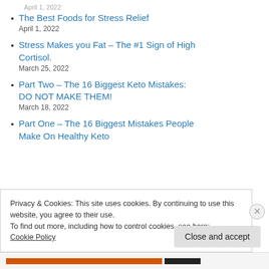The Best Foods for Stress Relief
April 1, 2022
Stress Makes you Fat – The #1 Sign of High Cortisol.
March 25, 2022
Part Two – The 16 Biggest Keto Mistakes: DO NOT MAKE THEM!
March 18, 2022
Part One – The 16 Biggest Mistakes People Make On Healthy Keto
Privacy & Cookies: This site uses cookies. By continuing to use this website, you agree to their use.
To find out more, including how to control cookies, see here: Cookie Policy
Close and accept